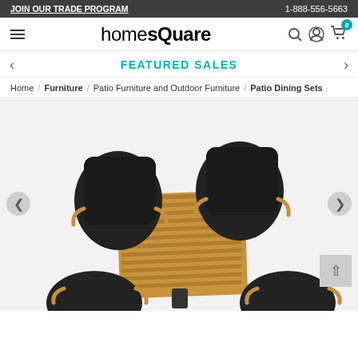JOIN OUR TRADE PROGRAM | 1-888-556-5663
[Figure (logo): homeSquare logo with hamburger menu, search, user, and cart icons]
FEATURED SALES
Home / Furniture / Patio Furniture and Outdoor Furniture / Patio Dining Sets
[Figure (photo): Patio dining set with teak square table and four black wicker armchairs on a light background]